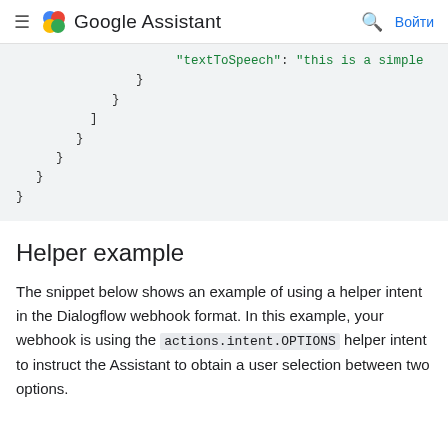≡ Google Assistant  🔍 Войти
[Figure (screenshot): Code snippet showing JSON with "textToSpeech" string value and closing braces/brackets at various indentation levels, on a light gray background]
Helper example
The snippet below shows an example of using a helper intent in the Dialogflow webhook format. In this example, your webhook is using the actions.intent.OPTIONS helper intent to instruct the Assistant to obtain a user selection between two options.